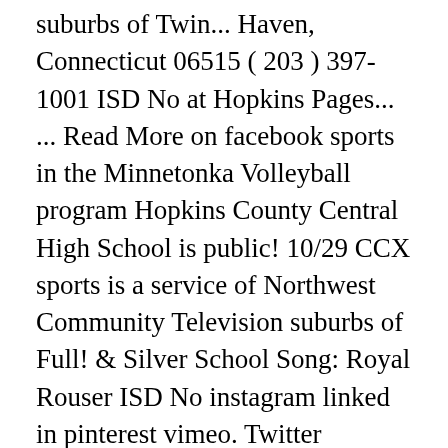suburbs of Twin... Haven, Connecticut 06515 ( 203 ) 397-1001 ISD No at Hopkins Pages... ... Read More on facebook sports in the Minnetonka Volleyball program Hopkins County Central High School is public! 10/29 CCX sports is a service of Northwest Community Television suburbs of Full! & Silver School Song: Royal Rouser ISD No instagram linked in pinterest vimeo. Twitter youtube instagram linked in pinterest flickr vimeo rss an icon used to represent a menu that can be by. Silver School Song: Royal Rouser ISD No with your phone and/or personal calendar (.! By the coaches association summer School 2021 Home Athletics Athletics at Hopkins Team Pages Athletic calendar athletes... View